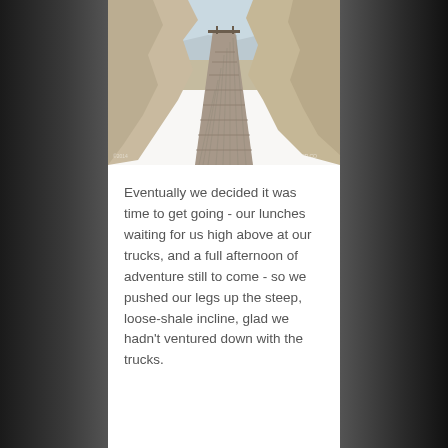[Figure (photo): A narrow wooden plank road/track descending steeply between rocky canyon walls, with an arid desert valley visible in the distance under a pale blue sky. Rocky shale formations on both sides.]
Eventually we decided it was time to get going - our lunches waiting for us high above at our trucks, and a full afternoon of adventure still to come - so we pushed our legs up the steep, loose-shale incline, glad we hadn't ventured down with the trucks.